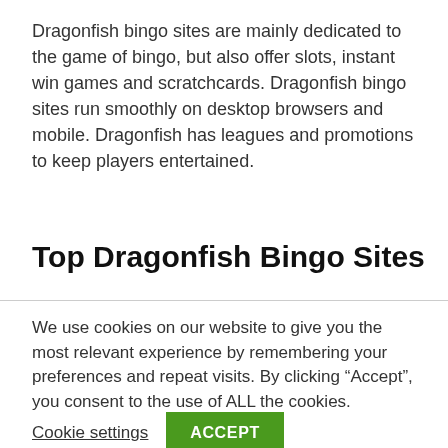Dragonfish bingo sites are mainly dedicated to the game of bingo, but also offer slots, instant win games and scratchcards. Dragonfish bingo sites run smoothly on desktop browsers and mobile. Dragonfish has leagues and promotions to keep players entertained.
Top Dragonfish Bingo Sites
We use cookies on our website to give you the most relevant experience by remembering your preferences and repeat visits. By clicking “Accept”, you consent to the use of ALL the cookies.
Cookie settings   ACCEPT